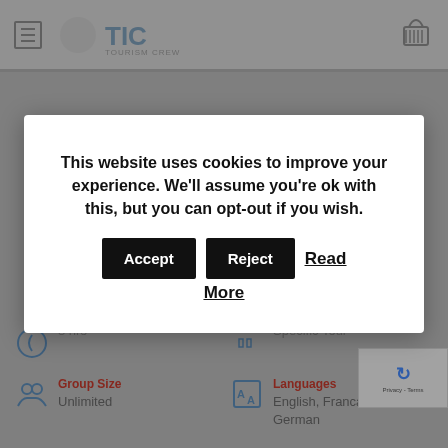[Figure (screenshot): TIC Tourism website header with hamburger menu icon and logo on the left, basket/cart icon on the right, on a grey background]
This website uses cookies to improve your experience. We'll assume you're ok with this, but you can opt-out if you wish. Accept Reject Read More
8 hrs
Specific Tour
Group Size
Unlimited
Languages
English, Francais, German